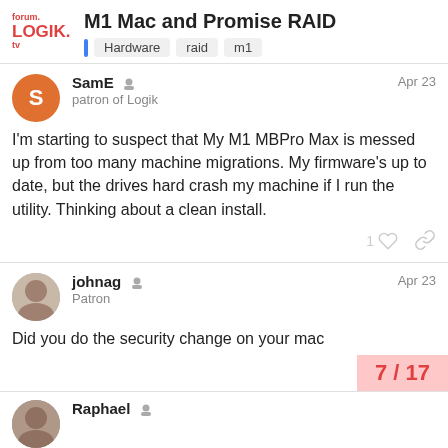forum. LOGIK. tv | M1 Mac and Promise RAID | Hardware raid m1
SamE patron of Logik Apr 23
I'm starting to suspect that My M1 MBPro Max is messed up from too many machine migrations. My firmware's up to date, but the drives hard crash my machine if I run the utility. Thinking about a clean install.
johnag Patron Apr 23
Did you do the security change on your mac
Raphael
7 / 17